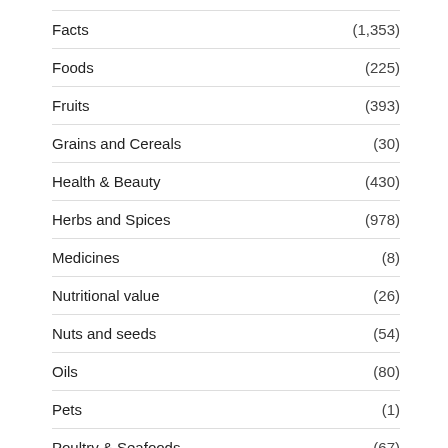Facts (1,353)
Foods (225)
Fruits (393)
Grains and Cereals (30)
Health & Beauty (430)
Herbs and Spices (978)
Medicines (8)
Nutritional value (26)
Nuts and seeds (54)
Oils (80)
Pets (1)
Poultry & Seafoods (67)
Pulses and Beans (16)